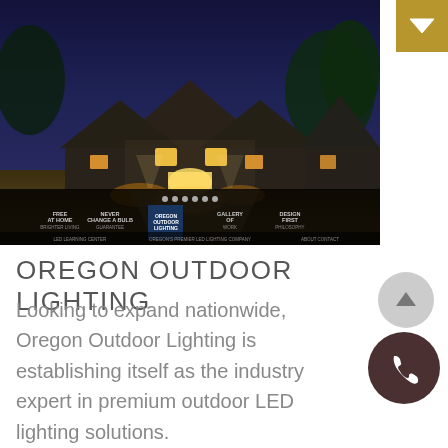[Figure (screenshot): Screenshot of Oregon Outdoor Lighting website showing a night-lit luxury house with outdoor lighting, and the website navigation bar with logo at the bottom of the image.]
OREGON OUTDOOR LIGHTING
Looking to expand nationwide, Oregon Outdoor Lighting is establishing itself as the industry expert in premium outdoor LED lighting solutions.